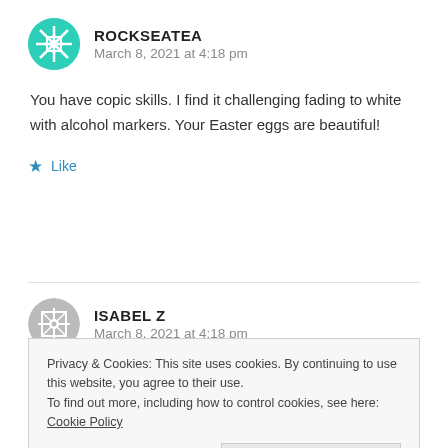[Figure (illustration): Teal circular avatar with snowflake/geometric pattern for user ROCKSEATEA]
ROCKSEATEA
March 8, 2021 at 4:18 pm
You have copic skills. I find it challenging fading to white with alcohol markers. Your Easter eggs are beautiful!
Like
[Figure (illustration): Gray circular avatar with geometric pattern for user ISABEL Z]
ISABEL Z
March 8, 2021 at 4:18 pm
Privacy & Cookies: This site uses cookies. By continuing to use this website, you agree to their use.
To find out more, including how to control cookies, see here: Cookie Policy
Close and accept